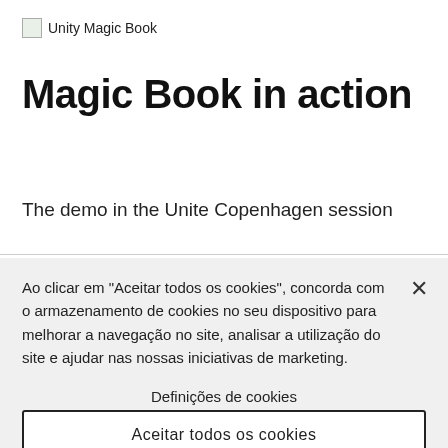Unity Magic Book
Magic Book in action
The demo in the Unite Copenhagen session
Ao clicar em "Aceitar todos os cookies", concorda com o armazenamento de cookies no seu dispositivo para melhorar a navegação no site, analisar a utilização do site e ajudar nas nossas iniciativas de marketing.
Definições de cookies
Aceitar todos os cookies